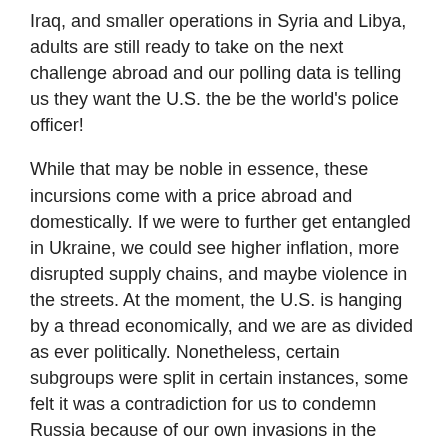Iraq, and smaller operations in Syria and Libya, adults are still ready to take on the next challenge abroad and our polling data is telling us they want the U.S. the be the world's police officer!
While that may be noble in essence, these incursions come with a price abroad and domestically. If we were to further get entangled in Ukraine, we could see higher inflation, more disrupted supply chains, and maybe violence in the streets. At the moment, the U.S. is hanging by a thread economically, and we are as divided as ever politically. Nonetheless, certain subgroups were split in certain instances, some felt it was a contradiction for us to condemn Russia because of our own invasions in the past, while some groups that lean left and right felt it was in the best interests of the U.S. to defend Ukraine and democracy.
Adults under the age of 44 (53% statement A/46% statement B) were more likely to believe that it is hypocritical for us to invade countries and then call foul when Russia did it. Adults aged 44 and over (32% statement A/68% statement B) were more likely to agree with statement B and think we should do our duty and defend allies and countries who are in need here...